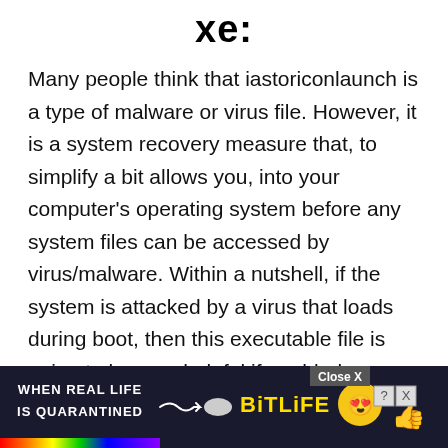xe:
Many people think that iastoriconlaunch is a type of malware or virus file. However, it is a system recovery measure that, to simplify a bit allows you, into your computer's operating system before any system files can be accessed by virus/malware. Within a nutshell, if the system is attacked by a virus that loads during boot, then this executable file is going to be very helpful if enabled. However iastoriconlaunch leaves a major impact on the boot time, so as many times you use it you end up in wasting 30-40 s[Close X]s more[ad]
[Figure (screenshot): Advertisement banner at the bottom: 'WHEN REAL LIFE IS QUARANTINED' BitLife ad with rainbow and emoji graphics, with a Close X button overlay]